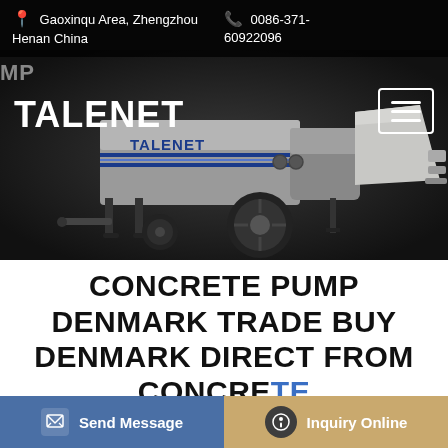📍 Gaoxinqu Area, Zhengzhou Henan China    📞 0086-371-60922096
TALENET
[Figure (photo): Gray concrete pump trailer with TALENET branding, shown on dark background. The machine has a large hopper/funnel on the right, a cylindrical body with blue TALENET logo, wheels, and support stands.]
CONCRETE PUMP DENMARK TRADE BUY DENMARK DIRECT FROM CONCRETE
Send Message
Inquiry Online